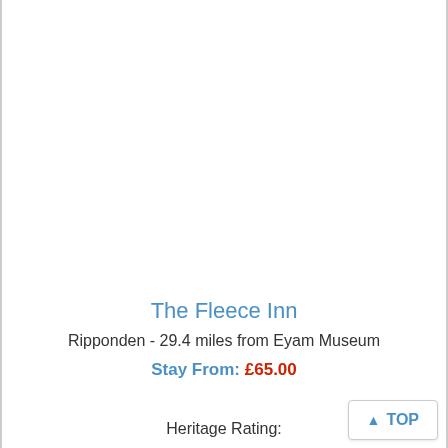The Fleece Inn
Ripponden - 29.4 miles from Eyam Museum
Stay From: £65.00
Heritage Rating: